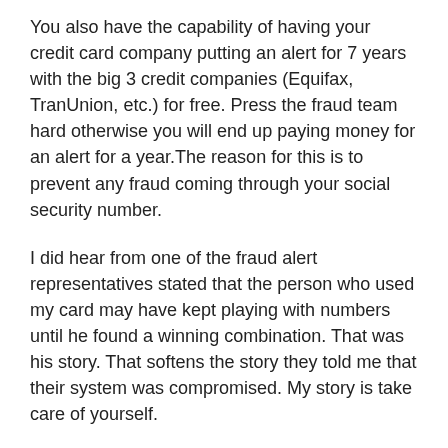You also have the capability of having your credit card company putting an alert for 7 years with the big 3 credit companies (Equifax, TranUnion, etc.) for free. Press the fraud team hard otherwise you will end up paying money for an alert for a year.The reason for this is to prevent any fraud coming through your social security number.
I did hear from one of the fraud alert representatives stated that the person who used my card may have kept playing with numbers until he found a winning combination. That was his story. That softens the story they told me that their system was compromised. My story is take care of yourself.
Remember when traveling it is extremely important to monitor your activity. Point to remember if you are in a foreign country you will have to ability to receive a card replacement. Each credit card company handles each situation differently. Find out before you go what you need to do in order to replace your card.